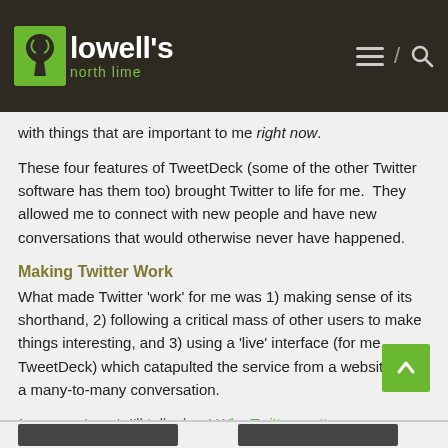lowell's north lime
with things that are important to me right now.
These four features of TweetDeck (some of the other Twitter software has them too) brought Twitter to life for me.  They allowed me to connect with new people and have new conversations that would otherwise never have happened.
Making Twitter Work
What made Twitter 'work' for me was 1) making sense of its shorthand, 2) following a critical mass of other users to make things interesting, and 3) using a 'live' interface (for me, TweetDeck) which catapulted the service from a website into a many-to-many conversation.
In my next post, I'll talk about Why Twitter matters.